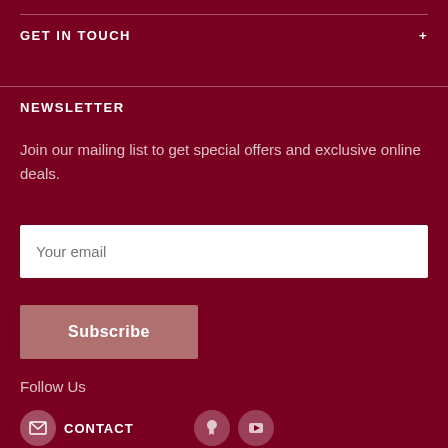GET IN TOUCH +
NEWSLETTER
Join our mailing list to get special offers and exclusive online deals.
Your email
Subscribe
Follow Us
Contact